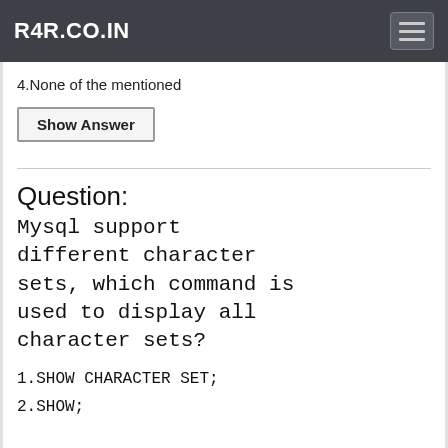R4R.CO.IN
4.None of the mentioned
Show Answer
Question:
Mysql support different character sets, which command is used to display all character sets?
1.SHOW CHARACTER SET;
2.SHOW;